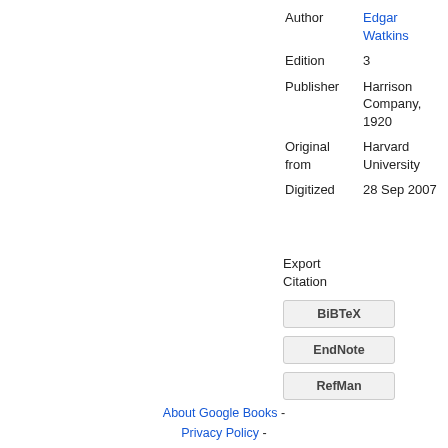| Author | Edgar Watkins |
| Edition | 3 |
| Publisher | Harrison Company, 1920 |
| Original from | Harvard University |
| Digitized | 28 Sep 2007 |
Export Citation
BiBTeX
EndNote
RefMan
About Google Books - Privacy Policy -